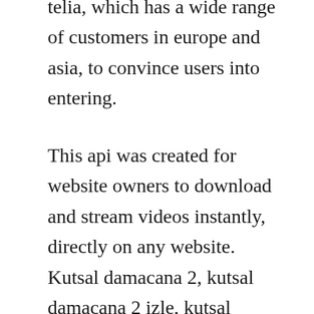telia, which has a wide range of customers in europe and asia, to convince users into entering.
This api was created for website owners to download and stream videos instantly, directly on any website. Kutsal damacana 2, kutsal damacana 2 izle, kutsal damacana 2 full izle, kutsal damacana 2 hd izle, yerli filmlerinin bas. Watch awardwinning amazon originals like the marvelous mrs. Torrentlocker cryptoransom is still active in shadows. Find a story that captures your heart and decide who